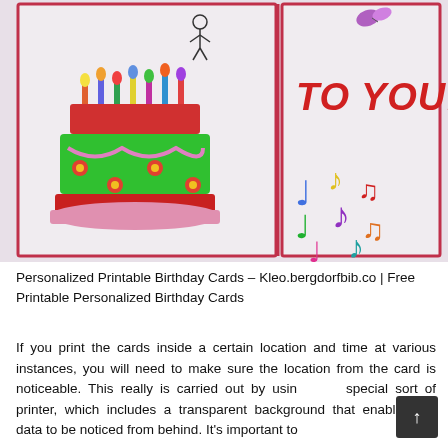[Figure (illustration): Two birthday card panels side by side. Left panel shows a colorful birthday cake with candles on a speckled background with a red border. Right panel shows 'TO YOU!' text in bold red letters and colorful musical notes on a speckled background with a red border.]
Personalized Printable Birthday Cards – Kleo.bergdorfbib.co | Free Printable Personalized Birthday Cards
If you print the cards inside a certain location and time at various instances, you will need to make sure the location from the card is noticeable. This really is carried out by using special sort of printer, which includes a transparent background that enables the data to be noticed from behind. It's important to